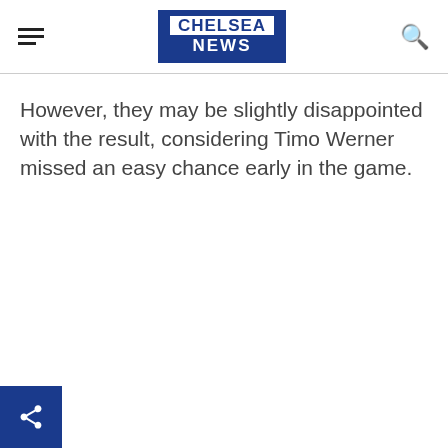CHELSEA NEWS
However, they may be slightly disappointed with the result, considering Timo Werner missed an easy chance early in the game.